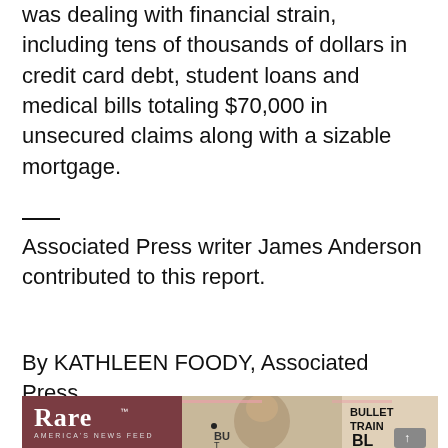was dealing with financial strain, including tens of thousands of dollars in credit card debt, student loans and medical bills totaling $70,000 in unsecured claims along with a sizable mortgage.
Associated Press writer James Anderson contributed to this report.
By KATHLEEN FOODY, Associated Press
[Figure (photo): A 'Rare — America's News Feed' article thumbnail showing a young man (Joseph Baena) at what appears to be a Bullet Train premiere. The left panel shows the Rare logo and text 'Arnold Schwarzenegger's Son Joseph Baena Joins 'Dancing With The...' over a reddish-brown background.]